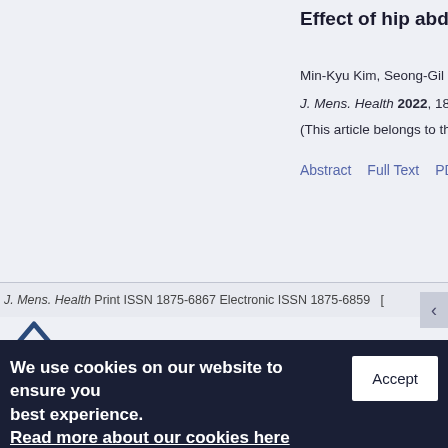Effect of hip abductio…
Min-Kyu Kim, Seong-Gil Kim
J. Mens. Health 2022, 18(2), 4…
(This article belongs to the Sp…)
Abstract   Full Text   PDF(2…
J. Mens. Health Print ISSN 1875-6867 Electronic ISSN 1875-6859
We use cookies on our website to ensure you best experience. Read more about our cookies here